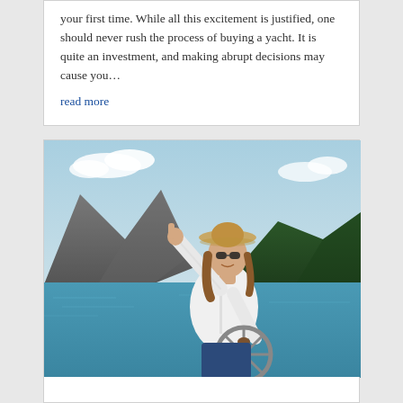your first time. While all this excitement is justified, one should never rush the process of buying a yacht. It is quite an investment, and making abrupt decisions may cause you… read more
[Figure (photo): A smiling woman wearing a wide-brimmed hat and sunglasses, dressed in a white jacket, standing at the helm of a sailboat with one arm raised pointing upward. Mountains and a lake are visible in the background under a partly cloudy blue sky.]